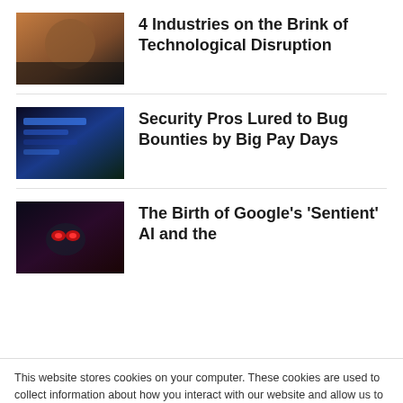[Figure (photo): Thumbnail image with orange and dark tones, person or abstract tech imagery]
4 Industries on the Brink of Technological Disruption
[Figure (photo): Dark thumbnail with blue tones, appears to show a screen or tech interface]
Security Pros Lured to Bug Bounties by Big Pay Days
[Figure (photo): Dark thumbnail with red eye glow, AI or robotic imagery]
The Birth of Google's 'Sentient' AI and the
This website stores cookies on your computer. These cookies are used to collect information about how you interact with our website and allow us to remember you. We use this information in order to improve and customize your browsing experience and for analytics and metrics about our visitors both on this website and other media. To find out more about the cookies we use, see our Privacy Policy. California residents have the right to direct us not to sell their personal information to third parties by filing an Opt-Out Request: Do Not Sell My Personal Info.